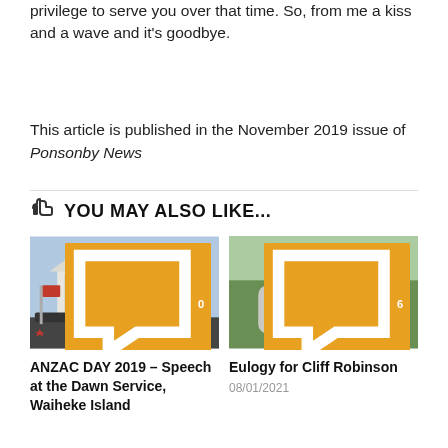privilege to serve you over that time. So, from me a kiss and a wave and it's goodbye.
This article is published in the November 2019 issue of Ponsonby News
👍 YOU MAY ALSO LIKE...
[Figure (photo): Photo of a large classical building with columns and a crowd of people gathered in front, with flags visible. Comment badge showing 0.]
[Figure (photo): Photo of a person wearing a graphic t-shirt outdoors in a park or garden setting. Comment badge showing 6.]
ANZAC DAY 2019 – Speech at the Dawn Service, Waiheke Island
Eulogy for Cliff Robinson
08/01/2021